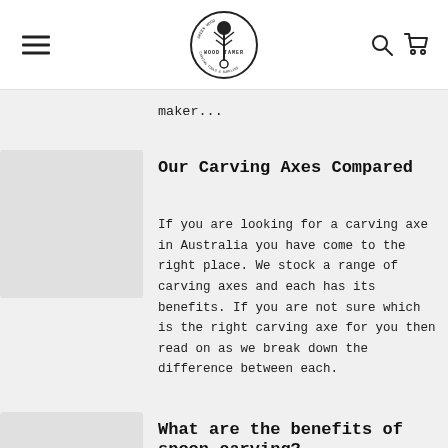WOOD TAMER - Carving Tools & Supplies
maker...
Our Carving Axes Compared
If you are looking for a carving axe in Australia you have come to the right place. We stock a range of carving axes and each has its benefits. If you are not sure which is the right carving axe for you then read on as we break down the difference between each.
What are the benefits of spoon carving?